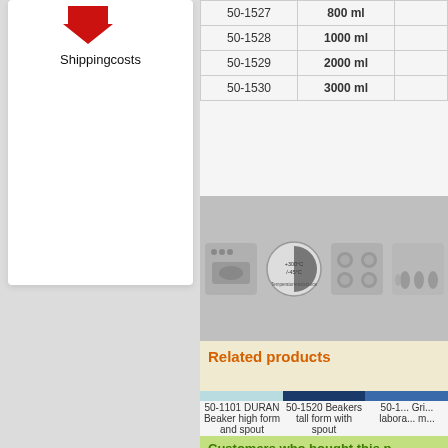[Figure (illustration): Red downward arrow icon at top of left sidebar white card]
Shippingcosts
|  |  |  |
| --- | --- | --- |
| 50-1527 | 800 ml |  |
| 50-1528 | 1000 ml |  |
| 50-1529 | 2000 ml |  |
| 50-1530 | 3000 ml |  |
[Figure (illustration): Row of product compatibility icons: oven, temperature range circular label (+300°C/-45°C), electric hob, gas hob]
Related products
[Figure (photo): Three laboratory beaker product photos side by side]
50-1101 DURAN Beaker high form and spout
50-1520 Beakers tall form with spout
50-1... Gri... labora... m...
Customers who bought this p